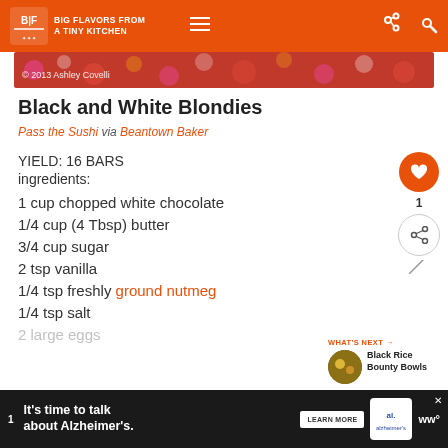BIG FLAVORS FROM A TINY KITCHEN
[Figure (photo): Colorful floral patterned background photo with copyright notice: © 2013 Ashley Covelli]
Black and White Blondies
Pass the Sushi via Beantown Baker
YIELD: 16 BARS
ingredients:
1 cup chopped white chocolate
1/4 cup (4 Tbsp) butter
3/4 cup sugar
2 tsp vanilla
1/4 tsp freshly ground nutmeg
1/4 tsp salt
2 large eggs
It's time to talk about Alzheimer's. LEARN MORE